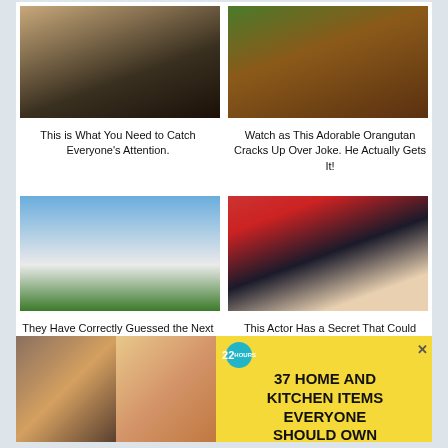[Figure (photo): Woman in black strappy top with blonde hair, cropped, showing neckline]
This is What You Need to Catch Everyone’s Attention.
[Figure (photo): Orangutan grinning widely, outdoors with green background]
Watch as This Adorable Orangutan Cracks Up Over Joke. He Actually Gets It!
[Figure (photo): White House exterior with blue sky and green lawn]
They Have Correctly Guessed the Next US President since ’75. See...
[Figure (photo): Actor covering face with arm, wearing black suit, at event]
This Actor Has a Secret That Could Roc... Hollywood Like Nev...
CLOSE
[Figure (infographic): Advertisement: 37 Home and Kitchen Items Everyone Should Own, with food and kitchen product photos, yellow background, 22 hours badge]
37 HOME AND KITCHEN ITEMS EVERYONE SHOULD OWN